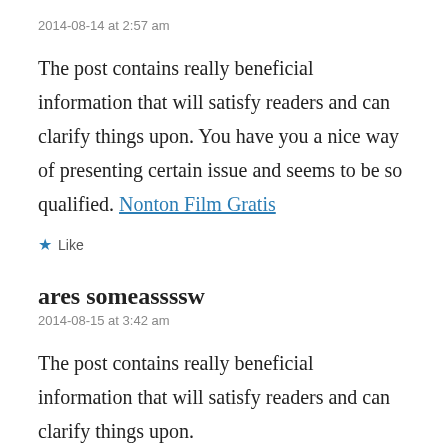2014-08-14 at 2:57 am
The post contains really beneficial information that will satisfy readers and can clarify things upon. You have you a nice way of presenting certain issue and seems to be so qualified. Nonton Film Gratis
★ Like
ares someassssw
2014-08-15 at 3:42 am
The post contains really beneficial information that will satisfy readers and can clarify things upon.